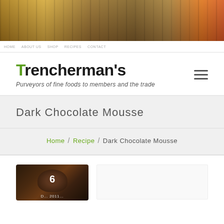[Figure (photo): Header image of a delicatessen or fine food shop interior with bottles and jars on shelves]
Trencherman's - Purveyors of fine foods to members and the trade
Dark Chocolate Mousse
Home / Recipe / Dark Chocolate Mousse
[Figure (photo): Dark chocolate mousse dish photo with number 6 overlay]